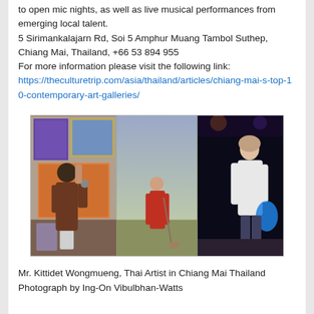to open mic nights, as well as live musical performances from emerging local talent.
5 Sirimankalajarn Rd, Soi 5 Amphur Muang Tambol Suthep, Chiang Mai, Thailand, +66 53 894 955
For more information please visit the following link:
https://theculturetrip.com/asia/thailand/articles/chiang-mai-s-top-10-contemporary-art-galleries/
[Figure (photo): A collage of three images: left panel shows a man in a brown shirt smiling and holding a phone in front of colorful paintings in a studio; center panel shows a painting of a monk in red robes; right panel shows a woman in a white top holding a blue plastic bag in a dark venue.]
Mr. Kittidet Wongmueng, Thai Artist in Chiang Mai Thailand
Photograph by Ing-On Vibulbhan-Watts